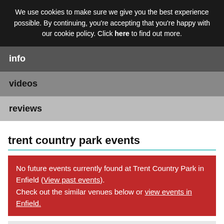We use cookies to make sure we give you the best experience possible. By continuing, you're accepting that you're happy with our cookie policy. Click here to find out more.
info
videos
reviews
trent country park events
No future events currently found at Trent Country Park in Enfield (View past events). Check out the similar venues below or view events in Enfield.
Do you own/manage Trent Country Park? Use our free Event Promotion Centre to claim/edit this venue.